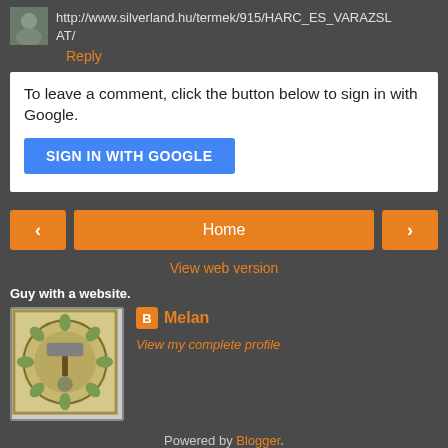http://www.silverland.hu/termek/915/HARC_ES_VARAZSLAT/
Reply
To leave a comment, click the button below to sign in with Google.
SIGN IN WITH GOOGLE
[Figure (other): Left navigation arrow button (orange)]
[Figure (other): Home navigation button (orange)]
[Figure (other): Right navigation arrow button (orange)]
View web version
Guy with a website.
[Figure (illustration): Profile image showing a decorative mosaic tile with a hammer design]
Melan
View my complete profile
Powered by Blogger.